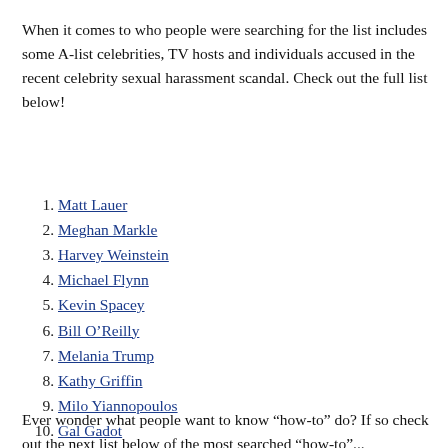When it comes to who people were searching for the list includes some A-list celebrities, TV hosts and individuals accused in the recent celebrity sexual harassment scandal. Check out the full list below!
Matt Lauer
Meghan Markle
Harvey Weinstein
Michael Flynn
Kevin Spacey
Bill O'Reilly
Melania Trump
Kathy Griffin
Milo Yiannopoulos
Gal Gadot
Ever wonder what people want to know “how-to” do? If so check out the next list below of the most searched “how-to”...